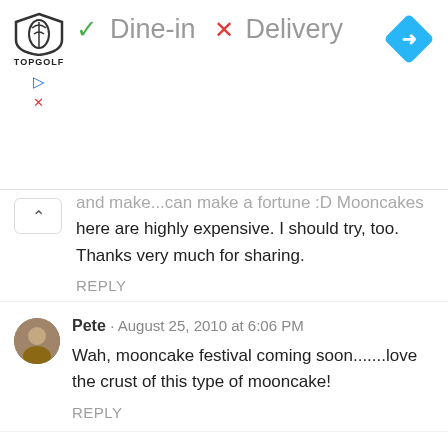[Figure (screenshot): Ad banner showing Topgolf logo with checkmark Dine-in, X Delivery, and a blue navigation diamond icon]
and make...can make a fortune :D Mooncakes here are highly expensive. I should try, too. Thanks very much for sharing.
REPLY
Pete · August 25, 2010 at 6:06 PM
Wah, mooncake festival coming soon.......love the crust of this type of mooncake!
REPLY
lena · August 25, 2010 at 7:37 PM
hi cheah, i also made some mooncakes yesterday and just posted. I got my filling paste from a friend at RM28.00/kg applies to all flavours..shops are seliing cheaper. I would love to try out these